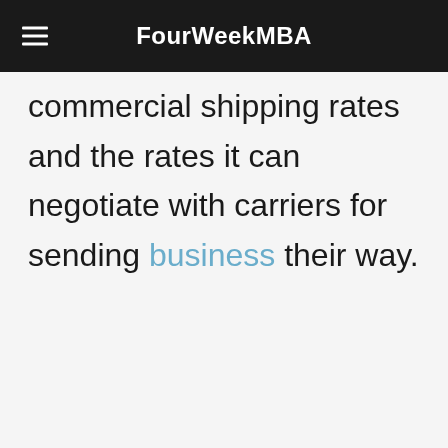FourWeekMBA
commercial shipping rates and the rates it can negotiate with carriers for sending business their way.